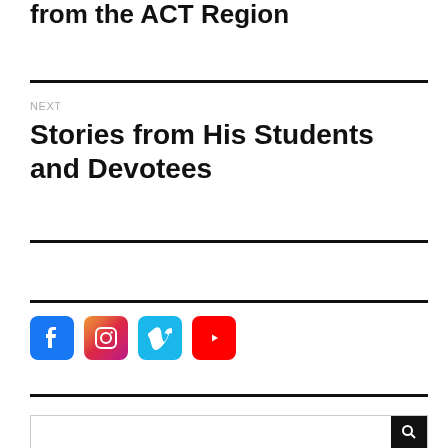from the ACT Region
NEXT
Stories from His Students and Devotees
[Figure (infographic): Row of four social media icon buttons: Facebook (blue), Instagram (gradient pink/purple), Vimeo (cyan), YouTube (red)]